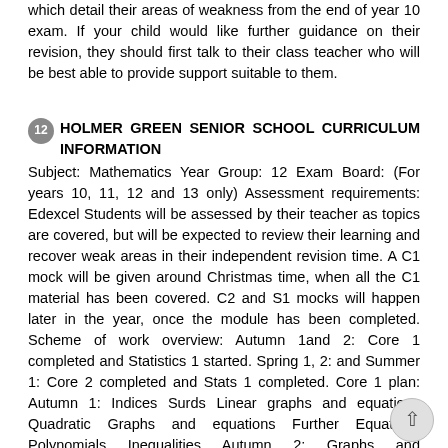which detail their areas of weakness from the end of year 10 exam. If your child would like further guidance on their revision, they should first talk to their class teacher who will be best able to provide support suitable to them.
12 HOLMER GREEN SENIOR SCHOOL CURRICULUM INFORMATION Subject: Mathematics Year Group: 12 Exam Board: (For years 10, 11, 12 and 13 only) Assessment requirements: Edexcel Students will be assessed by their teacher as topics are covered, but will be expected to review their learning and recover weak areas in their independent revision time. A C1 mock will be given around Christmas time, when all the C1 material has been covered. C2 and S1 mocks will happen later in the year, once the module has been completed. Scheme of work overview: Autumn 1and 2: Core 1 completed and Statistics 1 started. Spring 1, 2: and Summer 1: Core 2 completed and Stats 1 completed. Core 1 plan: Autumn 1: Indices Surds Linear graphs and equations Quadratic Graphs and equations Further Equations Polynomials Inequalities Autumn 2: Graphs and Transformations Sequences and Series Differentiation Integration Reading materials/resources: Students will be issued an SMP text book to keep and